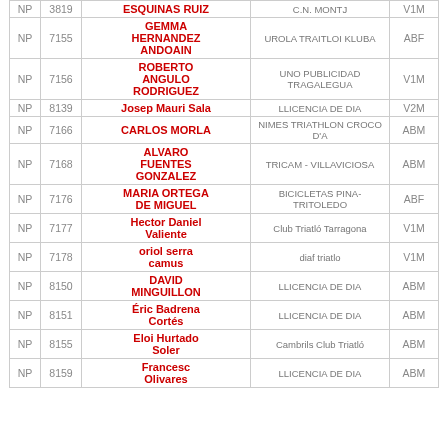| Status | Bib | Name | Club | Cat |
| --- | --- | --- | --- | --- |
| NP | 3819 | ESQUINAS RUIZ | C.N. MONTJ | V1M |
| NP | 7155 | GEMMA HERNANDEZ ANDOAIN | UROLA TRAITLOI KLUBA | ABF |
| NP | 7156 | ROBERTO ANGULO RODRIGUEZ | UNO PUBLICIDAD TRAGALEGUA | V1M |
| NP | 8139 | Josep Mauri Sala | LLICENCIA DE DIA | V2M |
| NP | 7166 | CARLOS MORLA | NIMES TRIATHLON CROCO D'A | ABM |
| NP | 7168 | ALVARO FUENTES GONZALEZ | TRICAM - VILLAVICIOSA | ABM |
| NP | 7176 | MARIA ORTEGA DE MIGUEL | BICICLETAS PINA-TRITOLEDO | ABF |
| NP | 7177 | Hector Daniel Valiente | Club Triatló Tarragona | V1M |
| NP | 7178 | oriol serra camus | diaf triatlo | V1M |
| NP | 8150 | DAVID MINGUILLON | LLICENCIA DE DIA | ABM |
| NP | 8151 | Éric Badrena Cortés | LLICENCIA DE DIA | ABM |
| NP | 8155 | Eloi Hurtado Soler | Cambrils Club Triatló | ABM |
| NP | 8159 | Francesc Olivares | LLICENCIA DE DIA | ABM |